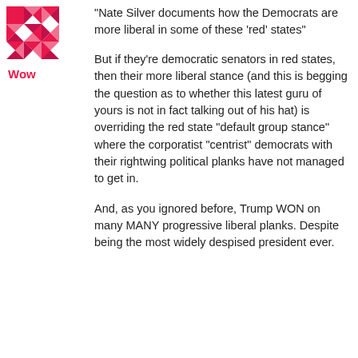[Figure (logo): Red and pink geometric/quilt pattern logo icon]
Wow
“Nate Silver documents how the Democrats are more liberal in some of these ‘red’ states”
But if they’re democratic senators in red states, then their more liberal stance (and this is begging the question as to whether this latest guru of yours is not in fact talking out of his hat) is overriding the red state “default group stance” where the corporatist “centrist” democrats with their rightwing political planks have not managed to get in.
And, as you ignored before, Trump WON on many MANY progressive liberal planks. Despite being the most widely despised president ever.